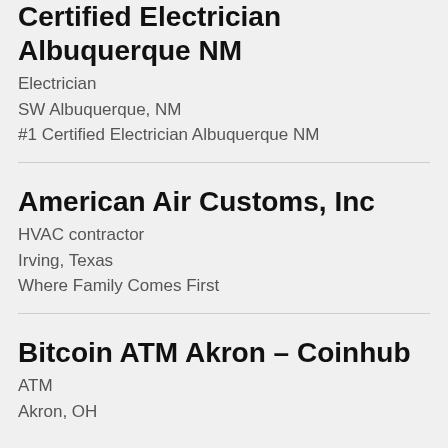Certified Electrician Albuquerque NM
Electrician
SW Albuquerque, NM
#1 Certified Electrician Albuquerque NM
American Air Customs, Inc
HVAC contractor
Irving, Texas
Where Family Comes First
Bitcoin ATM Akron – Coinhub
ATM
Akron, OH